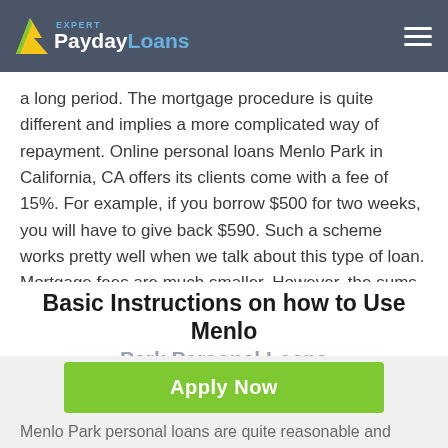Expert PaydayLoans
a long period. The mortgage procedure is quite different and implies a more complicated way of repayment. Online personal loans Menlo Park in California, CA offers its clients come with a fee of 15%. For example, if you borrow $500 for two weeks, you will have to give back $590. Such a scheme works pretty well when we talk about this type of loan. Mortgage fees are much smaller. However, the sums of money there are much larger.
Basic Instructions on how to Use Menlo Park Personal Loans
[Figure (screenshot): Green Apply Now button with disclaimer text 'Applying does NOT affect your credit score!' and 'No credit check to apply.']
Menlo Park personal loans are quite reasonable and easy to deal with. Nevertheless, you have to know how to use them correctly to get a loan online. We created a unique guide